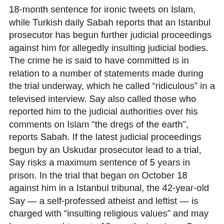18-month sentence for ironic tweets on Islam, while Turkish daily Sabah reports that an Istanbul prosecutor has begun further judicial proceedings against him for allegedly insulting judicial bodies. The crime he is said to have committed is in relation to a number of statements made during the trial underway, which he called “riculous” in a televised interview. Say also called those who reported him to the judicial authorities over his comments on Islam “the dregs of the earth”, reports Sabah. If the latest judicial proceedings begun by an Uskudar prosecutor lead to a trial, Say risks a maximum sentence of 5 years in prison. In the trial that began on October 18 against him in a Istanbul tribunal, the 42-year-old Say — a self-professed atheist and leftist — is charged with “insulting religious values” and may be sentenced to up to 18 months in prison. Say, a leading pianist called the “Turkish Mozart” by the German press and who has played with the most important orchestras in the world, was charged after being reported by three conservative religious citizens who were “shocked” by his sarcastic messages. In one of these messages he commented on the call to prayer of an Istanbul muezzin which lasted only 22 seconds. “Why such haste?” he